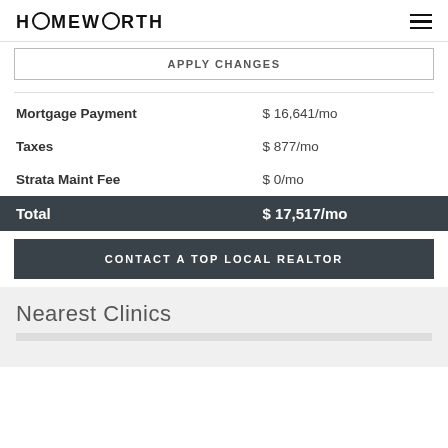HOMEWORTH
APPLY CHANGES
|  |  |
| --- | --- |
| Mortgage Payment | $ 16,641/mo |
| Taxes | $ 877/mo |
| Strata Maint Fee | $ 0/mo |
| Total | $ 17,517/mo |
CONTACT A TOP LOCAL REALTOR
Nearest Clinics